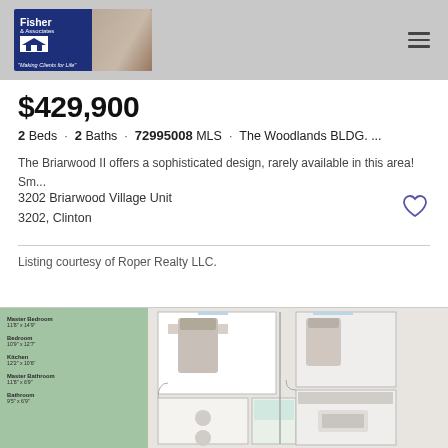[Figure (logo): Fisher & Associates real estate logo with house icon and two agents photo, tagline 'Making Clients for Life']
$429,900
2 Beds · 2 Baths · 72995008 MLS · The Woodlands BLDG. ...
The Briarwood II offers a sophisticated design, rarely available in this area! Sm...
3202 Briarwood Village Unit 3202, Clinton
Listing courtesy of Roper Realty LLC.
[Figure (engineering-diagram): Floor plan of The Briarwood II unit showing Master Bedroom 11'8" x 14'9", Bedroom 10'9" x 12'7", Kitchen 12'2" x 10'6", Master Bathroom 11'8" x 6'9", Bathroom 9'5" x 6'9"]